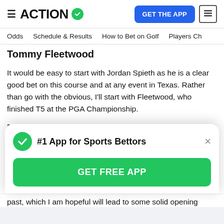ACTION #1 App for Sports Bettors | GET THE APP
Odds | Schedule & Results | How to Bet on Golf | Players Ch
Tommy Fleetwood
It would be easy to start with Jordan Spieth as he is a clear good bet on this course and at any event in Texas. Rather than go with the obvious, I'll start with Fleetwood, who finished T5 at the PGA Championship.
Fleetwood fired a final-round 67 to climb to 3-under on the week and finish strongly. This is a course that should fit Fleetwood's game since he's accurate off the tee and strong on approach. He should be carrying plenty of positive momentum in those metrics after gaining strokes
[Figure (screenshot): Popup banner: #1 App for Sports Bettors with GET FREE APP green button]
past, which I am hopeful will lead to some solid opening